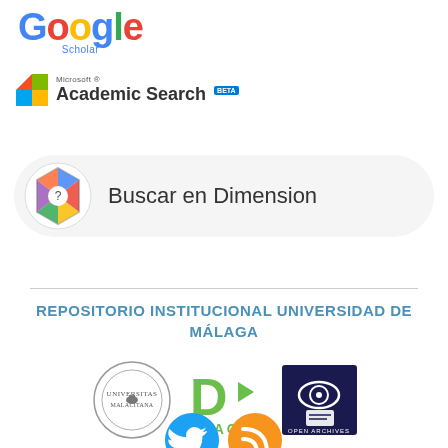[Figure (logo): Google Scholar logo with colorful letters and 'Scholar' label below]
[Figure (logo): Microsoft Academic Search logo with colorful flag icon and BETA badge]
[Figure (logo): Dimensions search bar with geometric colored icon and text 'Buscar en Dimension']
REPOSITORIO INSTITUCIONAL UNIVERSIDAD DE MÁLAGA
[Figure (logo): Universitas Malacitana seal / crest logo, DSpace logo in green, Open Archives logo]
[Figure (logo): Twitter bird icon (blue circle) and RSS feed icon (orange circle) partially visible at bottom]